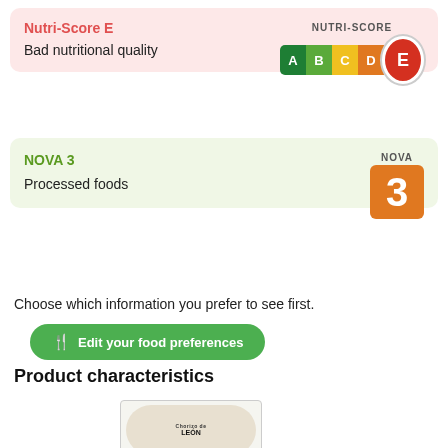Nutri-Score E
Bad nutritional quality
[Figure (infographic): Nutri-Score badge showing grades A B C D E with E highlighted in red circle]
NOVA 3
Processed foods
[Figure (infographic): NOVA badge showing number 3 in orange square]
Choose which information you prefer to see first.
Edit your food preferences
Product characteristics
[Figure (photo): Product photo showing Chorizo de León packaging label, oval shaped package]